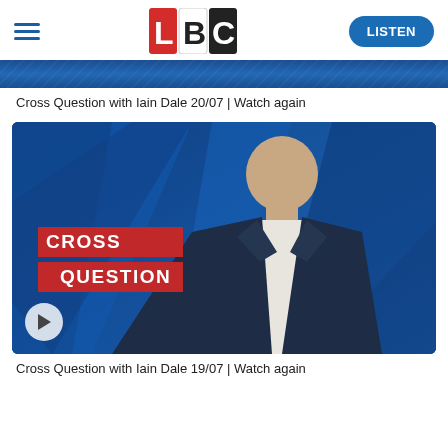LBC
[Figure (screenshot): Partial blue banner image at top of page, cropped]
Cross Question with Iain Dale 20/07 | Watch again
[Figure (photo): Cross Question with Iain Dale show thumbnail. A bald man in a dark plaid suit stands against a blue geometric background. Red speech-bubble graphics overlay reading CROSS QUESTION. A play button icon is in the bottom left corner.]
Cross Question with Iain Dale 19/07 | Watch again